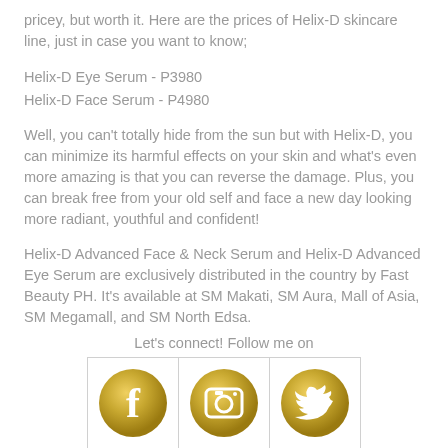pricey, but worth it. Here are the prices of Helix-D skincare line, just in case you want to know;
Helix-D Eye Serum - P3980
Helix-D Face Serum - P4980
Well, you can't totally hide from the sun but with Helix-D, you can minimize its harmful effects on your skin and what's even more amazing is that you can reverse the damage. Plus, you can break free from your old self and face a new day looking more radiant, youthful and confident!
Helix-D Advanced Face & Neck Serum and Helix-D Advanced Eye Serum are exclusively distributed in the country by Fast Beauty PH. It's available at SM Makati, SM Aura, Mall of Asia, SM Megamall, and SM North Edsa.
Let's connect! Follow me on
[Figure (illustration): Three gold circular social media icons: Facebook (f logo), Instagram (camera logo), Twitter (bird logo), arranged side by side in a grid with white borders]